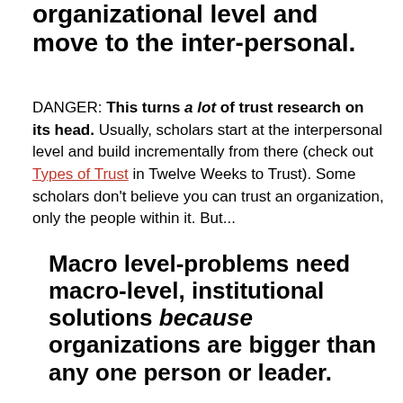organizational level and move to the inter-personal.
DANGER: This turns a lot of trust research on its head. Usually, scholars start at the interpersonal level and build incrementally from there (check out Types of Trust in Twelve Weeks to Trust). Some scholars don't believe you can trust an organization, only the people within it. But...
Macro level-problems need macro-level, institutional solutions because organizations are bigger than any one person or leader.